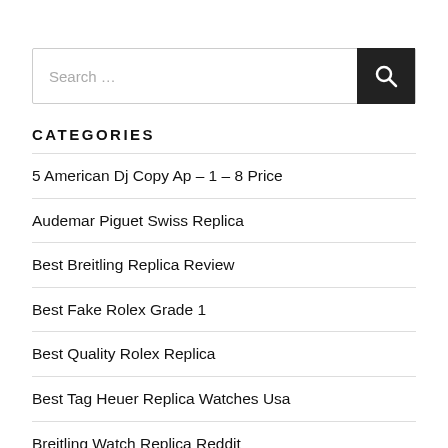[Figure (other): Search input box with a dark search button containing a magnifying glass icon]
CATEGORIES
5 American Dj Copy Ap – 1 – 8 Price
Audemar Piguet Swiss Replica
Best Breitling Replica Review
Best Fake Rolex Grade 1
Best Quality Rolex Replica
Best Tag Heuer Replica Watches Usa
Breitling Watch Replica Reddit